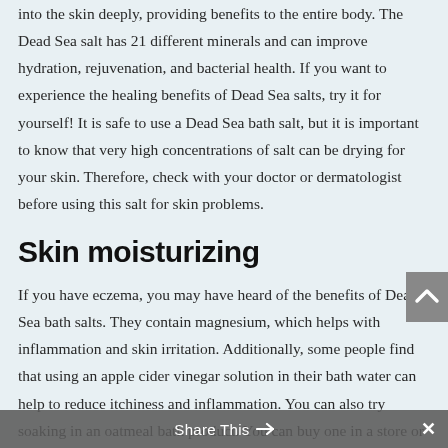into the skin deeply, providing benefits to the entire body. The Dead Sea salt has 21 different minerals and can improve hydration, rejuvenation, and bacterial health. If you want to experience the healing benefits of Dead Sea salts, try it for yourself! It is safe to use a Dead Sea bath salt, but it is important to know that very high concentrations of salt can be drying for your skin. Therefore, check with your doctor or dermatologist before using this salt for skin problems.
Skin moisturizing
If you have eczema, you may have heard of the benefits of Dead Sea bath salts. They contain magnesium, which helps with inflammation and skin irritation. Additionally, some people find that using an apple cider vinegar solution in their bath water can help to reduce itchiness and inflammation. You can also try soaking in an oatmeal bath product. You can buy one in a store or make your